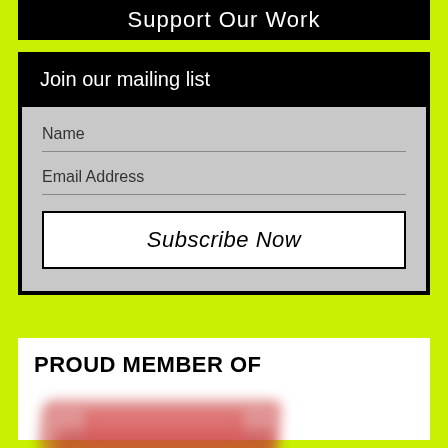Support Our Work
Join our mailing list
Name
Email Address
Subscribe Now
PROUD MEMBER OF
[Figure (logo): Blurred red logo image of an organization, text unreadable due to blur]